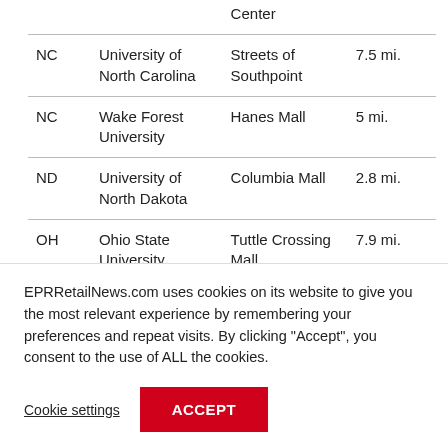| State | University | Mall | Distance |
| --- | --- | --- | --- |
|  |  | Center |  |
| NC | University of North Carolina | Streets of Southpoint | 7.5 mi. |
| NC | Wake Forest University | Hanes Mall | 5 mi. |
| ND | University of North Dakota | Columbia Mall | 2.8 mi. |
| OH | Ohio State University | Tuttle Crossing Mall | 7.9 mi. |
EPRRetailNews.com uses cookies on its website to give you the most relevant experience by remembering your preferences and repeat visits. By clicking "Accept", you consent to the use of ALL the cookies.
Cookie settings
ACCEPT